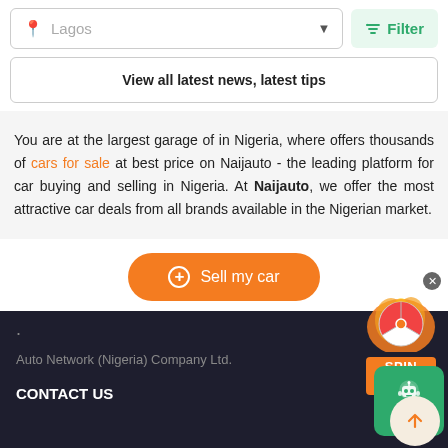Lagos (dropdown location selector with Filter button)
View all latest news, latest tips
You are at the largest garage of in Nigeria, where offers thousands of cars for sale at best price on Naijauto - the leading platform for car buying and selling in Nigeria. At Naijauto, we offer the most attractive car deals from all brands available in the Nigerian market.
+ Sell my car
Auto Network (Nigeria) Company Ltd.
CONTACT US